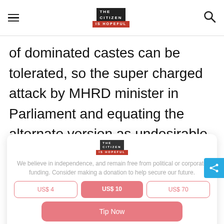THE CITIZEN IS HOPEFUL — navigation bar with hamburger menu and search icon
of dominated castes can be tolerated, so the super charged attack by MHRD minister in Parliament and equating the alternate version as undesirable-anti national.
[Figure (other): The Citizen Is Hopeful logo — black rectangle top reading THE CITIZEN, red rectangle bottom reading IS HOPEFUL]
We believe in independence, and remain free from political or corporate funding. Consider making a donation to help secure our future.
US$ 4   US$ 10   US$ 70
Tip Now
Secure Payment Methods